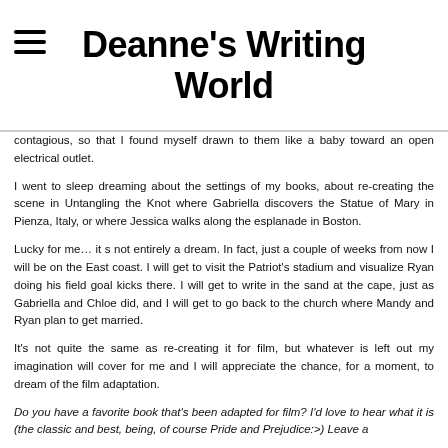Deanne's Writing World
contagious, so that I found myself drawn to them like a baby toward an open electrical outlet.
I went to sleep dreaming about the settings of my books, about re-creating the scene in Untangling the Knot where Gabriella discovers the Statue of Mary in Pienza, Italy, or where Jessica walks along the esplanade in Boston.
Lucky for me… it s not entirely a dream. In fact, just a couple of weeks from now I will be on the East coast. I will get to visit the Patriot's stadium and visualize Ryan doing his field goal kicks there. I will get to write in the sand at the cape, just as Gabriella and Chloe did, and I will get to go back to the church where Mandy and Ryan plan to get married.
It's not quite the same as re-creating it for film, but whatever is left out my imagination will cover for me and I will appreciate the chance, for a moment, to dream of the film adaptation.
Do you have a favorite book that's been adapted for film? I'd love to hear what it is (the classic and best, being, of course Pride and Prejudice:>) Leave a